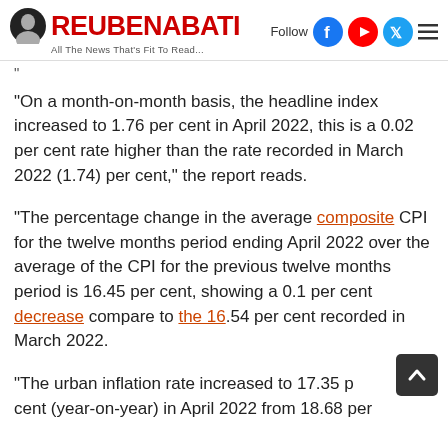ReubenAbati — All The News That's Fit To Read...
“On a month-on-month basis, the headline index increased to 1.76 per cent in April 2022, this is a 0.02 per cent rate higher than the rate recorded in March 2022 (1.74) per cent,” the report reads.
“The percentage change in the average composite CPI for the twelve months period ending April 2022 over the average of the CPI for the previous twelve months period is 16.45 per cent, showing a 0.1 per cent decrease compare to the 16.54 per cent recorded in March 2022.
“The urban inflation rate increased to 17.35 per cent (year-on-year) in April 2022 from 18.68 per